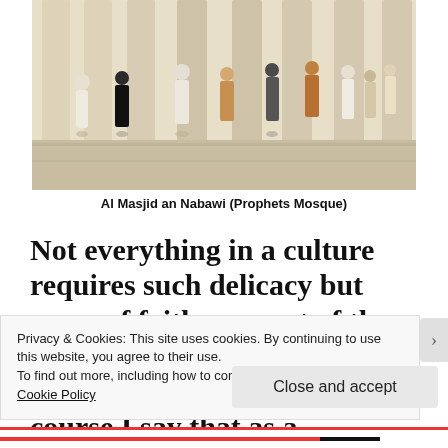[Figure (photo): People walking inside Al Masjid an Nabawi (Prophets Mosque), a large marble-floored mosque with tall columns. Several people in traditional attire are visible.]
Al Masjid an Nabawi (Prophets Mosque)
Not everything in a culture requires such delicacy but areas of faith are part of the biomimicry, the DNA of societal wellness. And of course I say that as a Christian just as Sir Roger...
Privacy & Cookies: This site uses cookies. By continuing to use this website, you agree to their use.
To find out more, including how to control cookies, see here: Cookie Policy
Close and accept